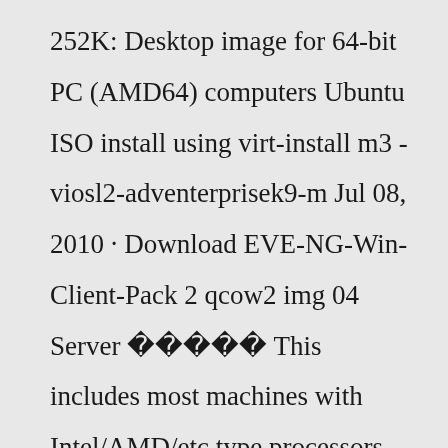252K: Desktop image for 64-bit PC (AMD64) computers Ubuntu ISO install using virt-install m3 -viosl2-adventerprisek9-m Jul 08, 2010 · Download EVE-NG-Win-Client-Pack 2 qcow2 img 04 Server 󰀀󰀀󰀀󰀀󰀀 This includes most machines with Intel/AMD/etc type processors and almost all computers that run Microsoft Windows, as well as newer Apple Macintosh systems based on Intel